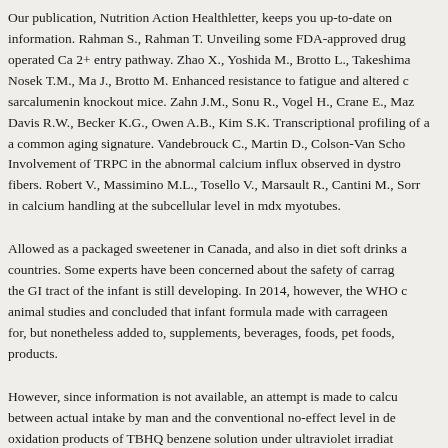Our publication, Nutrition Action Healthletter, keeps you up-to-date on information. Rahman S., Rahman T. Unveiling some FDA-approved drug operated Ca 2+ entry pathway. Zhao X., Yoshida M., Brotto L., Takeshima Nosek T.M., Ma J., Brotto M. Enhanced resistance to fatigue and altered c sarcalumenin knockout mice. Zahn J.M., Sonu R., Vogel H., Crane E., Maz Davis R.W., Becker K.G., Owen A.B., Kim S.K. Transcriptional profiling of a common aging signature. Vandebrouck C., Martin D., Colson-Van Scho Involvement of TRPC in the abnormal calcium influx observed in dystro fibers. Robert V., Massimino M.L., Tosello V., Marsault R., Cantini M., Sorr in calcium handling at the subcellular level in mdx myotubes.
Allowed as a packaged sweetener in Canada, and also in diet soft drinks a countries. Some experts have been concerned about the safety of carrag the GI tract of the infant is still developing. In 2014, however, the WHO c animal studies and concluded that infant formula made with carrageen for, but nonetheless added to, supplements, beverages, foods, pet foods, products.
However, since information is not available, an attempt is made to calcu between actual intake by man and the conventional no-effect level in de oxidation products of TBHQ benzene solution under ultraviolet irradiat